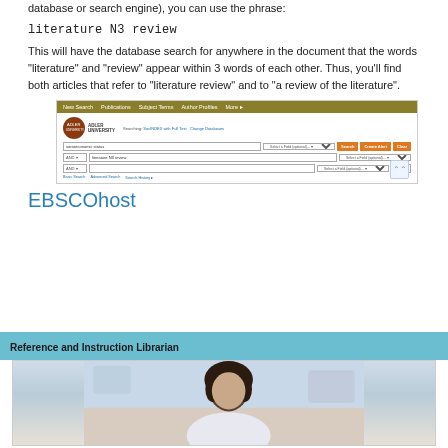database or search engine), you can use the phrase:
literature N3 review
This will have the database search for anywhere in the document that the words "literature" and "review" appear within 3 words of each other. Thus, you'll find both articles that refer to "literature review" and to "a review of the literature".
[Figure (screenshot): Screenshot of EBSCOhost/Adler University database search interface showing search fields with 'socioeconomic status' and 'literature N3 review' entered, with navigation bar, search buttons, and scroll controls.]
EBSCOhost
Reference and Instruction Librarian
[Figure (photo): Photo of a person (librarian) with dark curly hair against a blurred background.]